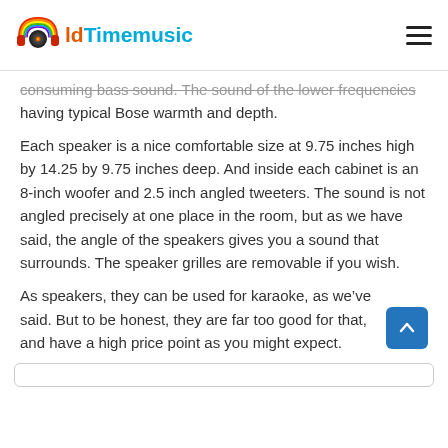OldTimemusic
consuming bass sound. The sound of the lower frequencies having typical Bose warmth and depth.
Each speaker is a nice comfortable size at 9.75 inches high by 14.25 by 9.75 inches deep. And inside each cabinet is an 8-inch woofer and 2.5 inch angled tweeters. The sound is not angled precisely at one place in the room, but as we have said, the angle of the speakers gives you a sound that surrounds. The speaker grilles are removable if you wish.
As speakers, they can be used for karaoke, as we’ve said. But to be honest, they are far too good for that, and have a high price point as you might expect.